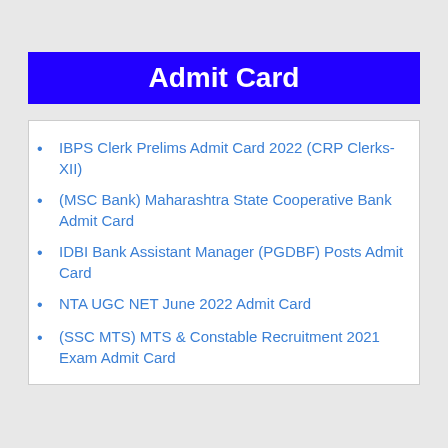Admit Card
IBPS Clerk Prelims Admit Card 2022 (CRP Clerks-XII)
(MSC Bank) Maharashtra State Cooperative Bank Admit Card
IDBI Bank Assistant Manager (PGDBF) Posts Admit Card
NTA UGC NET June 2022 Admit Card
(SSC MTS) MTS & Constable Recruitment 2021 Exam Admit Card